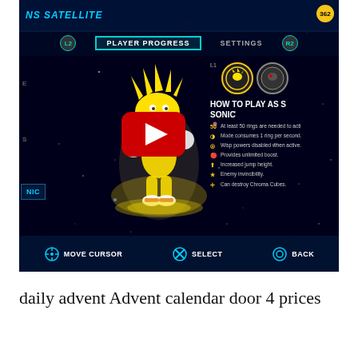[Figure (screenshot): YouTube video thumbnail showing a Sonic Colors video game screen with Super Sonic character glowing yellow in a space-themed level. The game UI shows 'Player Progress' and 'Settings' navigation tabs, character selection icons, and 'HOW TO PLAY AS SUPER SONIC' instructions listing game mechanics. Bottom bar shows controls: Move Cursor, Select, Back. A YouTube red play button overlay is visible in the center.]
daily advent Advent calendar door 4 prices